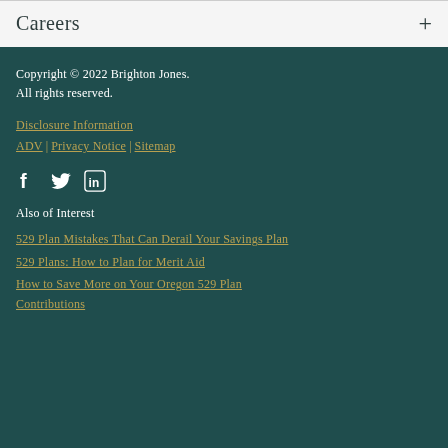Careers
Copyright © 2022 Brighton Jones.
All rights reserved.
Disclosure Information
ADV | Privacy Notice | Sitemap
[Figure (infographic): Social media icons: Facebook (f), Twitter (bird), LinkedIn (in square)]
Also of Interest
529 Plan Mistakes That Can Derail Your Savings Plan
529 Plans: How to Plan for Merit Aid
How to Save More on Your Oregon 529 Plan Contributions